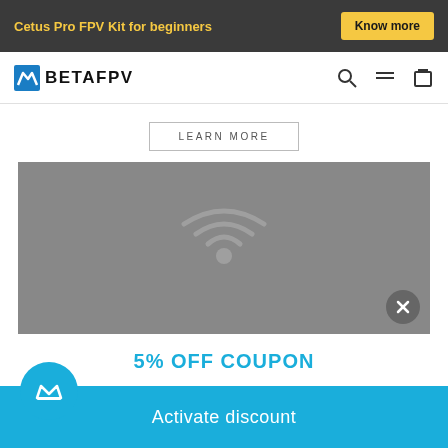Cetus Pro FPV Kit for beginners | Know more
[Figure (logo): BETAFPV logo with blue wing icon and bold black text]
LEARN MORE
[Figure (screenshot): Gray video placeholder area with faint signal/wifi icon in center and close (X) button at bottom right]
5% OFF COUPON
Activate discount